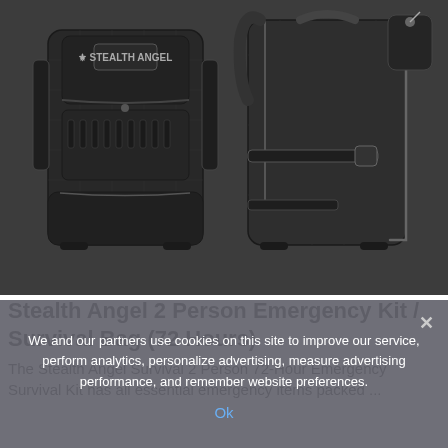[Figure (photo): Two black tactical backpacks side by side — front view on the left showing STEALTH ANGEL logo patch, side/back view on the right showing zippers and straps. Both on a dark grey background.]
Stealth Angel 2 Person Emergency Kit / Survival Bag (72 Hours)
The Stealth Angel Survival 2 Person 72-Hour Emergency Survival Kit has all essential emergency items packed ...
We and our partners use cookies on this site to improve our service, perform analytics, personalize advertising, measure advertising performance, and remember website preferences.
Ok